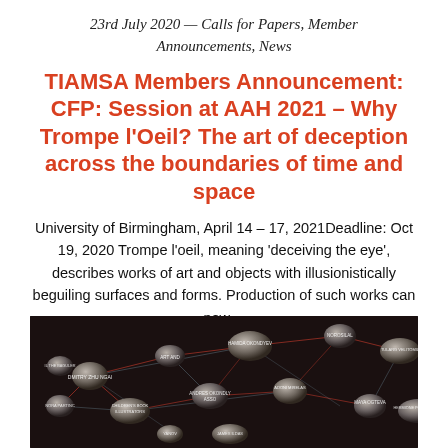23rd July 2020 — Calls for Papers, Member Announcements, News
TIAMSA Members Announcement: CFP: Session at AAH 2021 – Why Trompe l'Oeil? The art of deception across the boundaries of time and space
University of Birmingham, April 14 – 17, 2021Deadline: Oct 19, 2020 Trompe l'oeil, meaning 'deceiving the eye', describes works of art and objects with illusionistically beguiling surfaces and forms. Production of such works can now…
Find Out More
[Figure (other): Dark network graph visualization with spherical nodes connected by red and light blue lines on a black background, with white text labels on nodes]